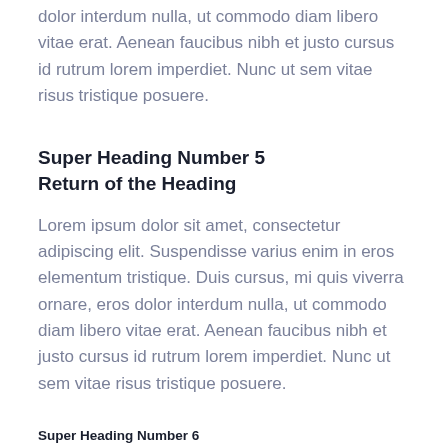dolor interdum nulla, ut commodo diam libero vitae erat. Aenean faucibus nibh et justo cursus id rutrum lorem imperdiet. Nunc ut sem vitae risus tristique posuere.
Super Heading Number 5
Return of the Heading
Lorem ipsum dolor sit amet, consectetur adipiscing elit. Suspendisse varius enim in eros elementum tristique. Duis cursus, mi quis viverra ornare, eros dolor interdum nulla, ut commodo diam libero vitae erat. Aenean faucibus nibh et justo cursus id rutrum lorem imperdiet. Nunc ut sem vitae risus tristique posuere.
Super Heading Number 6
The Last Heading
Lorem ipsum dolor sit amet, consectetur adipiscing elit. Suspendisse varius enim in eros elementum